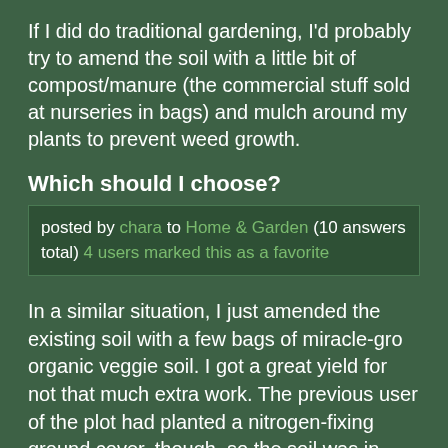If I did do traditional gardening, I'd probably try to amend the soil with a little bit of compost/manure (the commercial stuff sold at nurseries in bags) and mulch around my plants to prevent weed growth.
Which should I choose?
posted by chara to Home & Garden (10 answers total) 4 users marked this as a favorite
In a similar situation, I just amended the existing soil with a few bags of miracle-gro organic veggie soil. I got a great yield for not that much extra work. The previous user of the plot had planted a nitrogen-fixing ground cover, though, so the soil was in good shape already. This year I did a raised bed with an organic soil mix (not Mel's Mix, though - I did a mix of compost, pine fines, and top soil with high organic content) and my results are not as good so far. So I say, stick